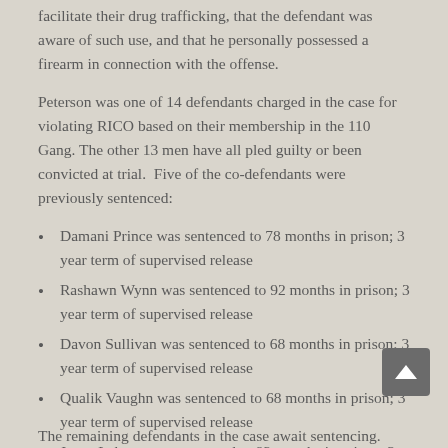facilitate their drug trafficking, that the defendant was aware of such use, and that he personally possessed a firearm in connection with the offense.
Peterson was one of 14 defendants charged in the case for violating RICO based on their membership in the 110 Gang. The other 13 men have all pled guilty or been convicted at trial. Five of the co-defendants were previously sentenced:
Damani Prince was sentenced to 78 months in prison; 3 year term of supervised release
Rashawn Wynn was sentenced to 92 months in prison; 3 year term of supervised release
Davon Sullivan was sentenced to 68 months in prison; 3 year term of supervised release
Qualik Vaughn was sentenced to 68 months in prison; 3 year term of supervised release
Jason Lebron was sentenced to 92 months in prison, 3 year term of supervised release
The remaining defendants in the case await sentencing.